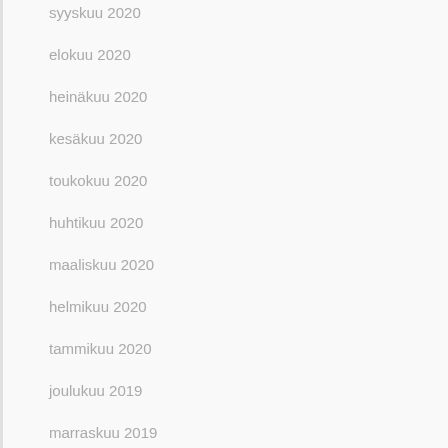syyskuu 2020
elokuu 2020
heinäkuu 2020
kesäkuu 2020
toukokuu 2020
huhtikuu 2020
maaliskuu 2020
helmikuu 2020
tammikuu 2020
joulukuu 2019
marraskuu 2019
lokakuu 2019
syyskuu 2019